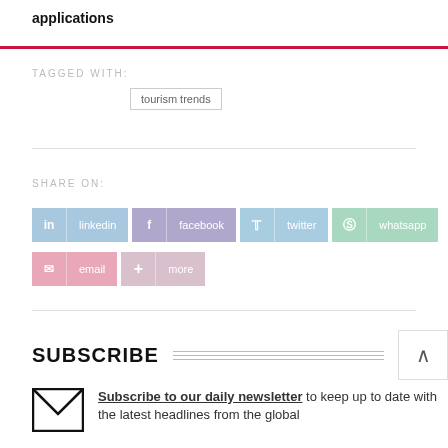applications
TAGGED WITH:
tourism trends
SHARE ON:
in | linkedin | f | facebook | twitter | whatsapp | email | more
SUBSCRIBE
Subscribe to our daily newsletter to keep up to date with the latest headlines from the global